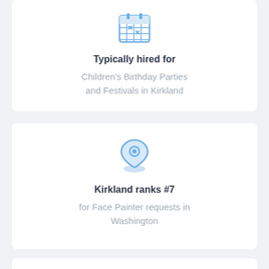[Figure (illustration): Blue calendar icon with X marks on grid cells]
Typically hired for
Children's Birthday Parties and Festivals in Kirkland
[Figure (illustration): Blue map location pin icon with shadow ellipse]
Kirkland ranks #7
for Face Painter requests in Washington